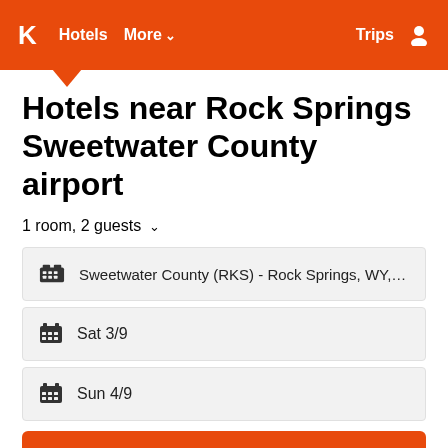K Hotels More Trips
Hotels near Rock Springs Sweetwater County airport
1 room, 2 guests
Sweetwater County (RKS) - Rock Springs, WY, Unit...
Sat 3/9
Sun 4/9
Search